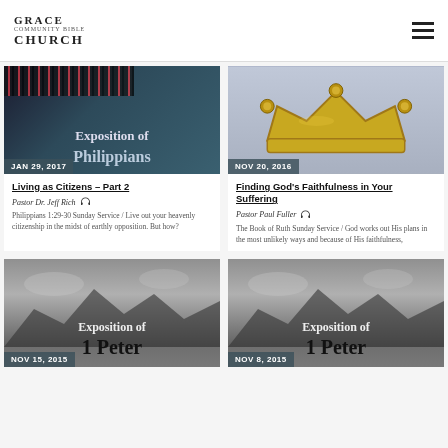GRACE COMMUNITY BIBLE CHURCH
[Figure (photo): Exposition of Philippians thumbnail image with dark blue/teal background and barcode-like bars]
JAN 29, 2017
Living as Citizens – Part 2
Pastor Dr. Jeff Rich
Philippians 1:29-30 Sunday Service / Live out your heavenly citizenship in the midst of earthly opposition.  But how?
[Figure (photo): Gold crown on light grey/purple background]
NOV 20, 2016
Finding God's Faithfulness in Your Suffering
Pastor Paul Fuller
The Book of Ruth  Sunday Service / God works out His plans in the most unlikely ways and because of His faithfulness,
[Figure (photo): Exposition of 1 Peter thumbnail image with mountain/cloudy background]
NOV 15, 2015
[Figure (photo): Exposition of 1 Peter thumbnail image with mountain/cloudy background]
NOV 8, 2015